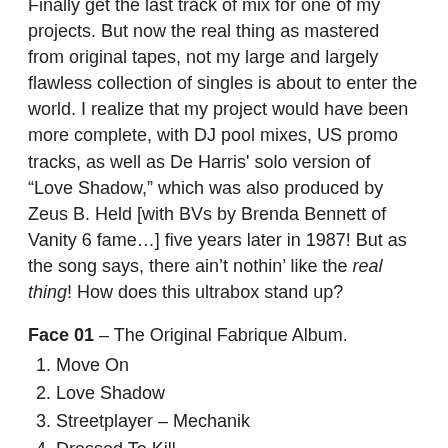Finally get the last track of mix for one of my projects. But now the real thing as mastered from original tapes, not my large and largely flawless collection of singles is about to enter the world. I realize that my project would have been more complete, with DJ pool mixes, US promo tracks, as well as De Harris' solo version of “Love Shadow,” which was also produced by Zeus B. Held [with BVs by Brenda Bennett of Vanity 6 fame…] five years later in 1987! But as the song says, there ain’t nothin’ like the real thing! How does this ultrabox stand up?
Face 01 – The Original Fabrique Album.
1. Move On
2. Love Shadow
3. Streetplayer – Mechanik
4. Dressed To Kill
5. You Only Left Your Picture